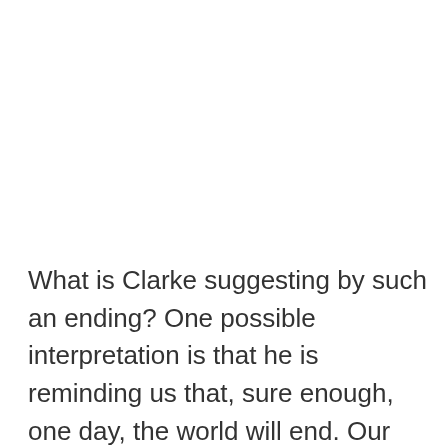What is Clarke suggesting by such an ending? One possible interpretation is that he is reminding us that, sure enough, one day, the world will end. Our sun is on borrowed time; one day, life on Earth will cease to be completely and the solar system will be